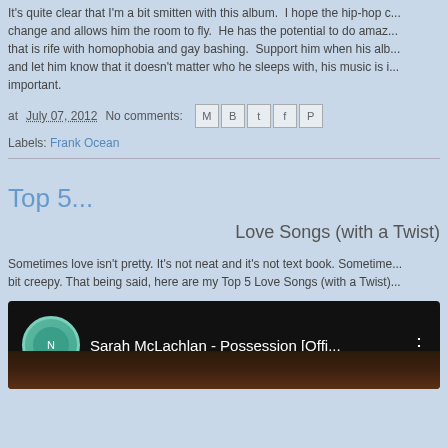It's quite clear that I'm a bit smitten with this album. I hope the hip-hop c... change and allows him the room to fly. He has the potential to do amaz... that is rife with homophobia and gay bashing. Support him when his alb... and let him know that it doesn't matter who he sleeps with, his music is i... important.
at July 07, 2012   No comments:
Labels: Frank Ocean
Top 5...
Love Songs (with a Twist)
Sometimes love isn't pretty. It's not neat and it's not text book. Sometime... bit creepy. That being said, here are my Top 5 Love Songs (with a Twist)...
[Figure (screenshot): YouTube video thumbnail for Sarah McLachlan - Possession [Offi... with a network logo and person's face partially visible]